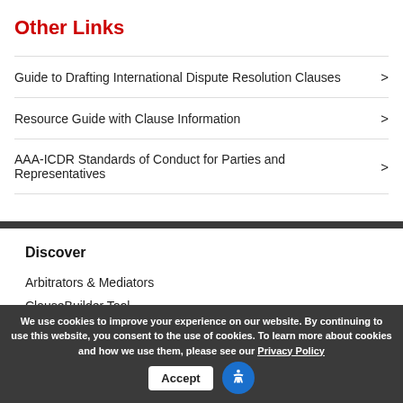Other Links
Guide to Drafting International Dispute Resolution Clauses >
Resource Guide with Clause Information >
AAA-ICDR Standards of Conduct for Parties and Representatives >
Discover
Arbitrators & Mediators
ClauseBuilder Tool
We use cookies to improve your experience on our website. By continuing to use this website, you consent to the use of cookies. To learn more about cookies and how we use them, please see our Privacy Policy  Accept